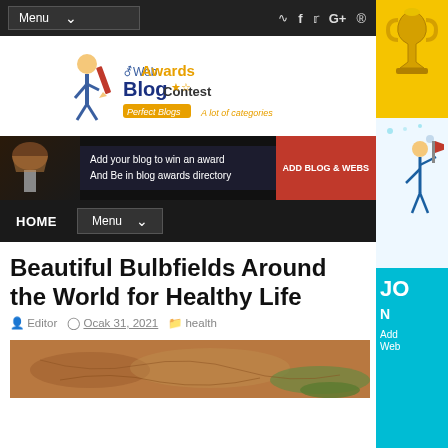Menu | social icons (RSS, Facebook, Twitter, Google+, Pinterest)
[Figure (logo): Web Awards Blog Contest logo with cartoon child writing with pencil, 'Perfect Blogs', 'A lot of categories']
[Figure (infographic): Dark banner: 'Add your blog to win an award And Be in blog awards directory' with red button 'ADD BLOG & WEBS']
HOME | Menu dropdown
Beautiful Bulbfields Around the World for Healthy Life
Editor  Ocak 31, 2021  health
[Figure (photo): Aerial photo of sandy/rocky terrain with patches of green vegetation]